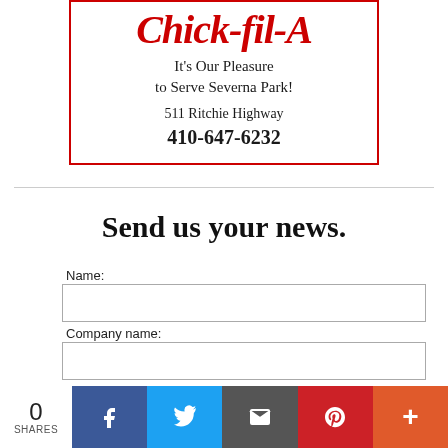[Figure (logo): Chick-fil-A advertisement with logo, tagline 'It's Our Pleasure to Serve Severna Park!', address '511 Ritchie Highway', and phone '410-647-6232', inside a red border box.]
Send us your news.
Name:
Company name:
Your Email: